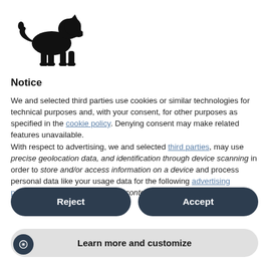[Figure (logo): Black silhouette of a lion walking, facing left]
Notice
We and selected third parties use cookies or similar technologies for technical purposes and, with your consent, for other purposes as specified in the cookie policy. Denying consent may make related features unavailable.
With respect to advertising, we and selected third parties, may use precise geolocation data, and identification through device scanning in order to store and/or access information on a device and process personal data like your usage data for the following advertising purposes: personalized ads and content, ad and
Reject
Accept
Learn more and customize